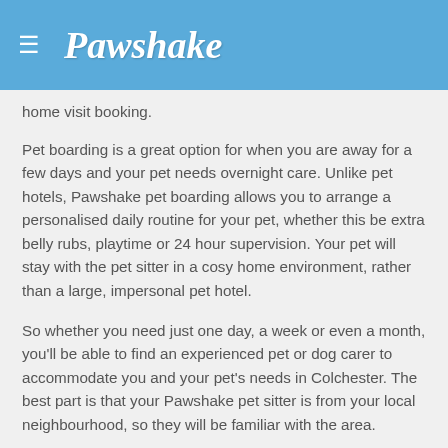≡  Pawshake
home visit booking.
Pet boarding is a great option for when you are away for a few days and your pet needs overnight care. Unlike pet hotels, Pawshake pet boarding allows you to arrange a personalised daily routine for your pet, whether this be extra belly rubs, playtime or 24 hour supervision. Your pet will stay with the pet sitter in a cosy home environment, rather than a large, impersonal pet hotel.
So whether you need just one day, a week or even a month, you'll be able to find an experienced pet or dog carer to accommodate you and your pet's needs in Colchester. The best part is that your Pawshake pet sitter is from your local neighbourhood, so they will be familiar with the area.
Our pet carers also have a range of experiences which include nursing, seniors, new owners, and dog training...